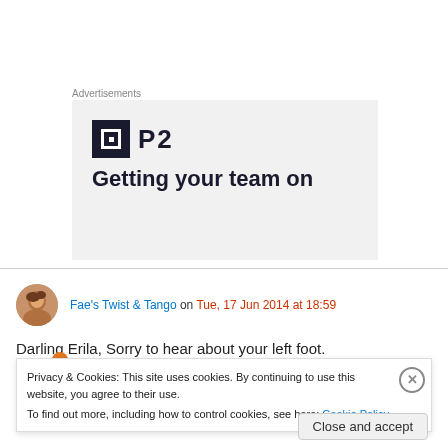Advertisements
[Figure (logo): P2 app logo and advertisement banner with text 'Getting your team on']
Fae's Twist & Tango on Tue, 17 Jun 2014 at 18:59
Darling Erila, Sorry to hear about your left foot.
Privacy & Cookies: This site uses cookies. By continuing to use this website, you agree to their use.
To find out more, including how to control cookies, see here: Cookie Policy